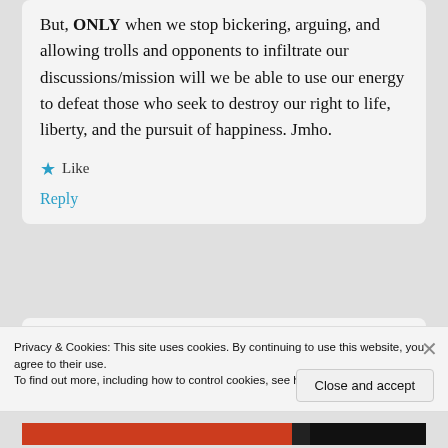But, ONLY when we stop bickering, arguing, and allowing trolls and opponents to infiltrate our discussions/mission will we be able to use our energy to defeat those who seek to destroy our right to life, liberty, and the pursuit of happiness. Jmho.
Like
Reply
Privacy & Cookies: This site uses cookies. By continuing to use this website, you agree to their use.
To find out more, including how to control cookies, see here: Cookie Policy
Close and accept